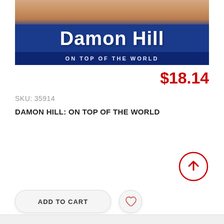[Figure (photo): Book cover for 'Damon Hill: On Top of the World' showing the author's face at top and bold white text on a dark blue background with subtitle band at bottom]
$18.14
SKU:  35914
DAMON HILL: ON TOP OF THE WORLD